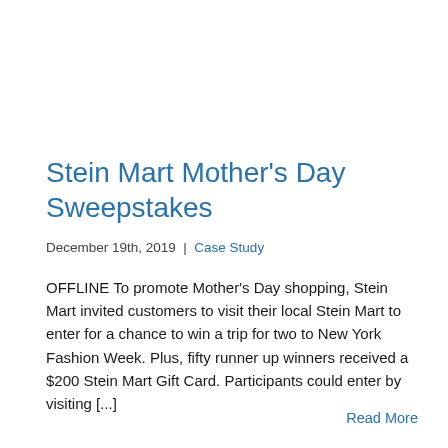Stein Mart Mother's Day Sweepstakes
December 19th, 2019  |  Case Study
OFFLINE To promote Mother's Day shopping, Stein Mart invited customers to visit their local Stein Mart to enter for a chance to win a trip for two to New York Fashion Week. Plus, fifty runner up winners received a $200 Stein Mart Gift Card. Participants could enter by visiting [...]
Read More